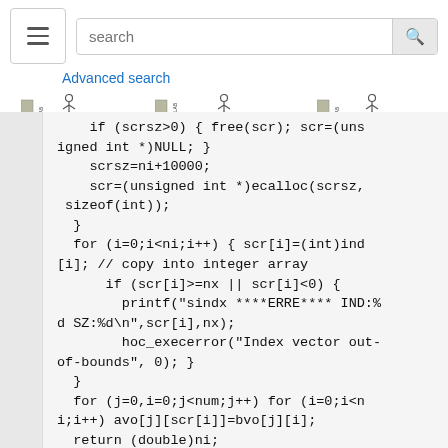[Figure (screenshot): Navigation bar with hamburger menu, search box with 'search' placeholder and search button, 'Advanced search' link, and three database logos: SenseLab, MicrocircuitDB, ModelDB]
if (scrsz>0) { free(scr); scr=(unsigned int *)NULL; }
    scrsz=ni+10000;
    scr=(unsigned int *)ecalloc(scrsz, sizeof(int));
  }
  for (i=0;i<ni;i++) { scr[i]=(int)ind[i]; // copy into integer array
      if (scr[i]>=nx || scr[i]<0) {
        printf("sindx ****ERRE**** IND:%d SZ:%d\n",scr[i],nx);
        hoc_execerror("Index vector out-of-bounds", 0); }
  }
  for (j=0,i=0;j<num;j++) for (i=0;i<ni;i++) avo[j][scr[i]]=bvo[j][i];
  return (double)ni;
}
ENDVERBATIM